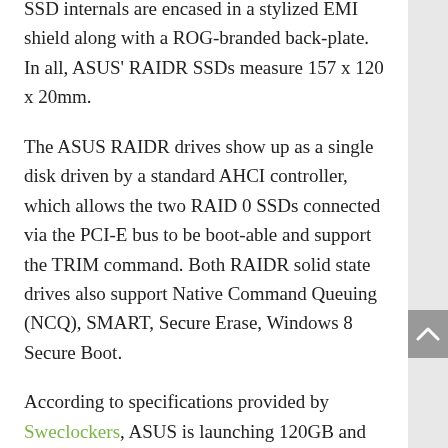SSD internals are encased in a stylized EMI shield along with a ROG-branded back-plate. In all, ASUS' RAIDR SSDs measure 157 x 120 x 20mm.
The ASUS RAIDR drives show up as a single disk driven by a standard AHCI controller, which allows the two RAID 0 SSDs connected via the PCI-E bus to be boot-able and support the TRIM command. Both RAIDR solid state drives also support Native Command Queuing (NCQ), SMART, Secure Erase, Windows 8 Secure Boot.
According to specifications provided by Sweclockers, ASUS is launching 120GB and 240GB versions of the PCI-E SSDs. Both